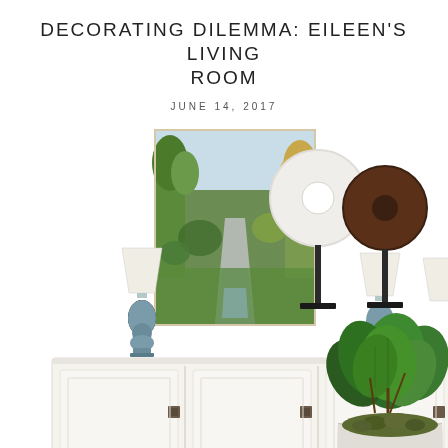DECORATING DILEMMA: EILEEN'S LIVING ROOM
JUNE 14, 2017
[Figure (illustration): Interior design mood board showing a white sideboard/credenza with two blue-grey ceramic lamps flanking a landscape painting (path through trees), decorative stone disc sculptures on stands (white and brown), and a fiddle-leaf fig plant in a white pot.]